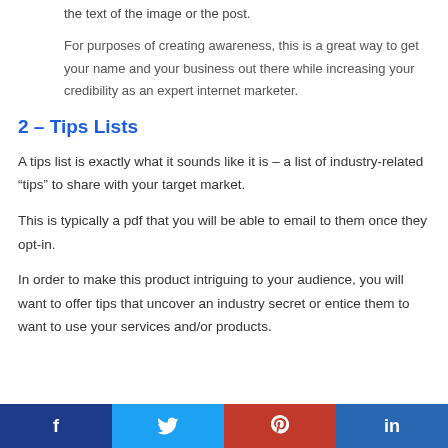the text of the image or the post.
For purposes of creating awareness, this is a great way to get your name and your business out there while increasing your credibility as an expert internet marketer.
2 – Tips Lists
A tips list is exactly what it sounds like it is – a list of industry-related “tips” to share with your target market.
This is typically a pdf that you will be able to email to them once they opt-in.
In order to make this product intriguing to your audience, you will want to offer tips that uncover an industry secret or entice them to want to use your services and/or products.
f  [twitter bird]  p  in